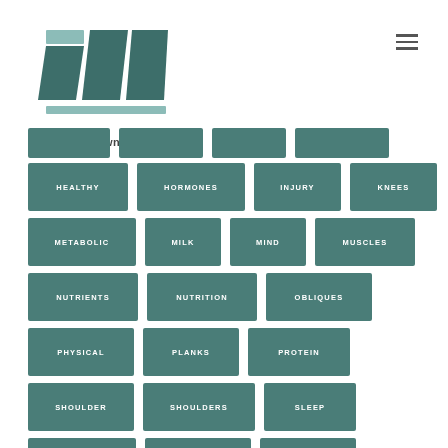[Figure (logo): Fit Brown Mom logo with stylized FBM letters in teal/dark teal and text 'Fit Brown Mom' below]
HEALTHY
HORMONES
INJURY
KNEES
METABOLIC
MILK
MIND
MUSCLES
NUTRIENTS
NUTRITION
OBLIQUES
PHYSICAL
PLANKS
PROTEIN
SHOULDER
SHOULDERS
SLEEP
STOMACH
STRENGTH
STRESS